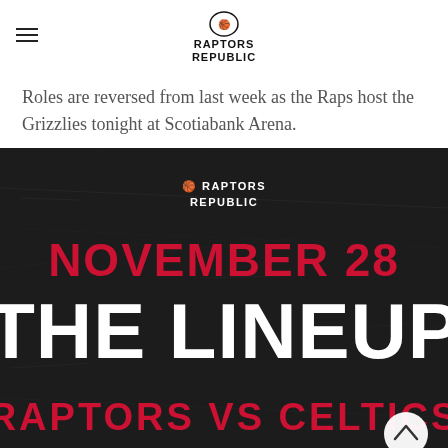RAPTORS REPUBLIC
Roles are reversed from last week as the Raps host the Grizzlies tonight at Scotiabank Arena.
[Figure (infographic): Dark textured background graphic with Raptors Republic logo, 'NOVEMBER 28', 'THE LINEUP', and 'RAPTORS VS CELTICS' text on a scratched dark background.]